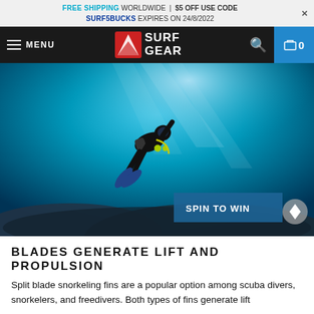FREE SHIPPING WORLDWIDE | $5 OFF USE CODE SURF5BUCKS EXPIRES ON 24/8/2022
[Figure (screenshot): Navigation bar with hamburger menu, MENU text, Surf Gear logo, search icon, and cart icon showing 0]
[Figure (photo): Underwater photo of a scuba diver in black wetsuit swimming in clear blue ocean water with coral reef below. A 'SPIN TO WIN' button overlay appears in the bottom right.]
BLADES GENERATE LIFT AND PROPULSION
Split blade snorkeling fins are a popular option among scuba divers, snorkelers, and freedivers. Both types of fins generate lift